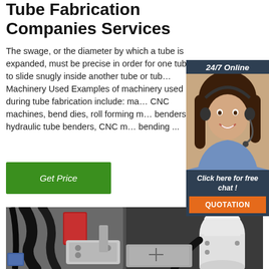Tube Fabrication Companies Services
The swage, or the diameter by which a tube is expanded, must be precise in order for one tube to slide snugly inside another tube or tub… Machinery Used Examples of machinery used during tube fabrication include: ma… CNC machines, bend dies, roll forming m… benders, hydraulic tube benders, CNC m… bending ...
[Figure (other): Green 'Get Price' button]
[Figure (other): 24/7 Online chat widget with a woman wearing a headset, with 'Click here for free chat!' text and an orange QUOTATION button]
[Figure (photo): Industrial tube fabrication machinery photo showing black cables, metal brackets, and a white cylindrical component]